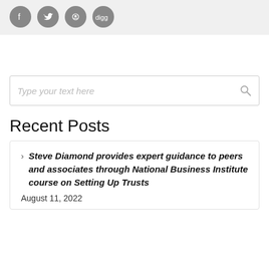[Figure (other): Social media share icons: Facebook, Twitter, Reddit, Digg — grey circular buttons in a light grey bar]
[Figure (other): Search input box with placeholder text 'Type your text here' and a search magnifier icon]
Recent Posts
Steve Diamond provides expert guidance to peers and associates through National Business Institute course on Setting Up Trusts
August 11, 2022